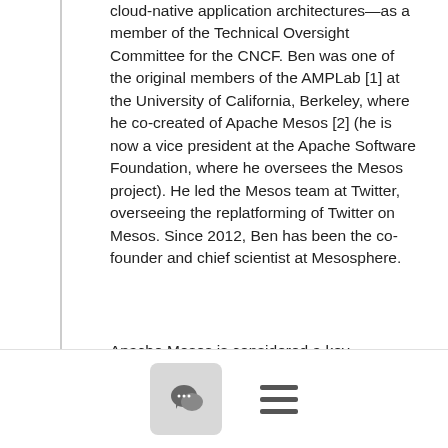cloud-native application architectures—as a member of the Technical Oversight Committee for the CNCF. Ben was one of the original members of the AMPLab [1] at the University of California, Berkeley, where he co-created of Apache Mesos [2] (he is now a vice president at the Apache Software Foundation, where he oversees the Mesos project). He led the Mesos team at Twitter, overseeing the replatforming of Twitter on Mesos. Since 2012, Ben has been the co-founder and chief scientist at Mesosphere.
Apache Mesos is considered a key technology in cloud-native computing [3]. In addition to Twitter, it runs some of the largest cloud-native clusters in
[Figure (other): Bottom navigation bar with a chat bubble icon button and a hamburger menu icon]